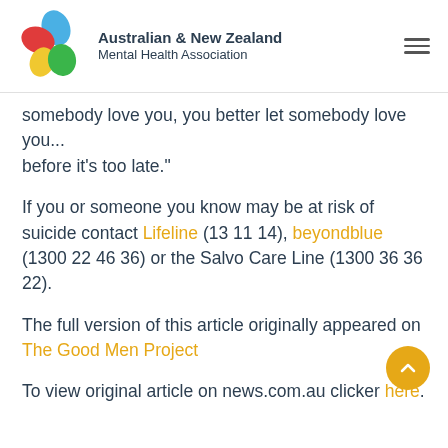Australian & New Zealand Mental Health Association
somebody love you, you better let somebody love you... before it's too late."
If you or someone you know may be at risk of suicide contact Lifeline (13 11 14), beyondblue (1300 22 46 36) or the Salvo Care Line (1300 36 36 22).
The full version of this article originally appeared on The Good Men Project
To view original article on news.com.au clicker here.